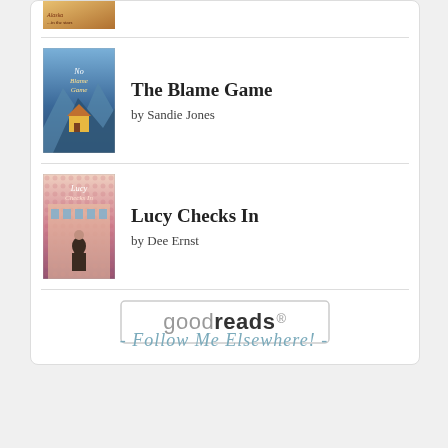[Figure (illustration): Partial book cover at the top of a Goodreads widget card]
The Blame Game
by Sandie Jones
[Figure (illustration): Book cover for The Blame Game by Sandie Jones]
Lucy Checks In
by Dee Ernst
[Figure (illustration): Book cover for Lucy Checks In by Dee Ernst]
[Figure (logo): goodreads logo button]
- Follow Me Elsewhere! -